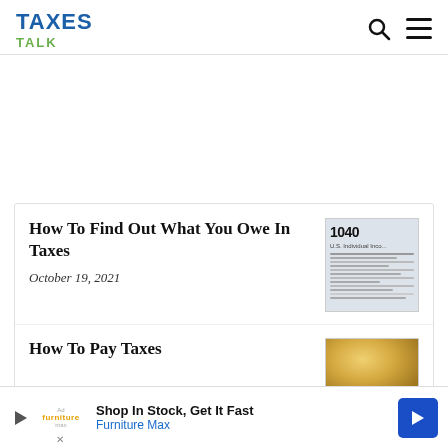TAXES TALK
How To Find Out What You Owe In Taxes
October 19, 2021
[Figure (photo): IRS Form 1040 U.S. Individual Income Tax Return document closeup]
How To Pay Taxes
[Figure (photo): Close-up of coins, gold/bronze colored]
Shop In Stock, Get It Fast
Furniture Max